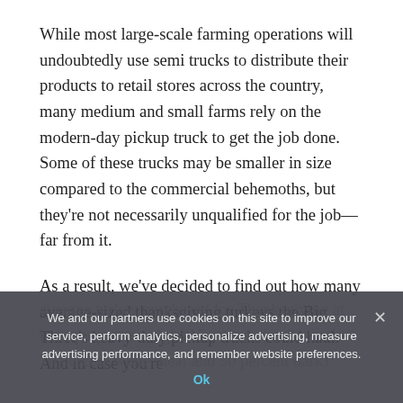While most large-scale farming operations will undoubtedly use semi trucks to distribute their products to retail stores across the country, many medium and small farms rely on the modern-day pickup truck to get the job done. Some of these trucks may be smaller in size compared to the commercial behemoths, but they're not necessarily unqualified for the job—far from it.
As a result, we've decided to find out how many average-sized thanksgiving turkeys the Big Three's heavy-duty pickup trucks could haul. And in case you're average turkey purchased for Thanksgiving at least purposes weighs 15 pounds (and contains 70 percent white meat and 30 percent dark).
We and our partners use cookies on this site to improve our service, perform analytics, personalize advertising, measure advertising performance, and remember website preferences.